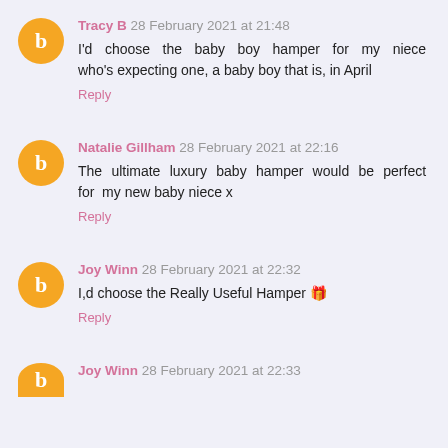Tracy B 28 February 2021 at 21:48
I'd choose the baby boy hamper for my niece who's expecting one, a baby boy that is, in April
Reply
Natalie Gillham 28 February 2021 at 22:16
The ultimate luxury baby hamper would be perfect for my new baby niece x
Reply
Joy Winn 28 February 2021 at 22:32
I,d choose the Really Useful Hamper 🎁
Reply
Joy Winn 28 February 2021 at 22:33